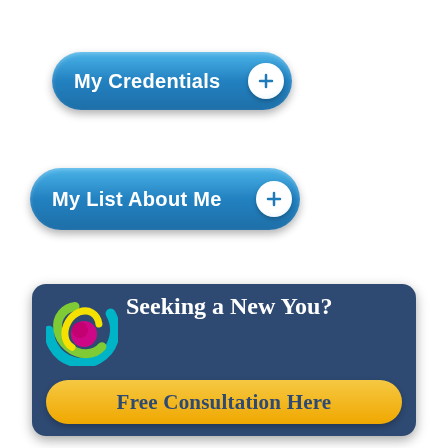[Figure (illustration): Blue rounded button with white bold text 'My Credentials' and a white circle plus icon on the right]
[Figure (illustration): Blue rounded button with white bold text 'My List About Me' and a white circle plus icon on the right]
[Figure (infographic): Dark navy blue rounded rectangle promo box with colorful swirl logo on left, white handwriting-style text 'Seeking a New You?' and an orange/yellow rounded button reading 'Free Consultation Here' in dark navy handwriting-style text]